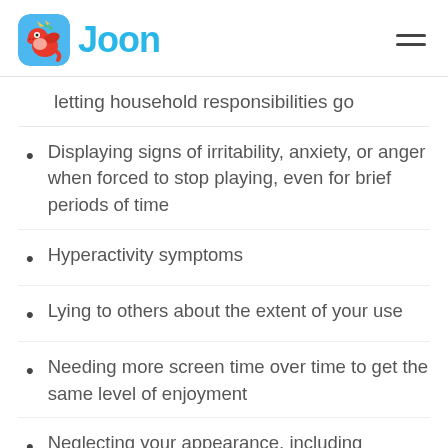[Figure (logo): Joon app logo with dragon mascot icon and 'Joon' text in blue]
letting household responsibilities go
Displaying signs of irritability, anxiety, or anger when forced to stop playing, even for brief periods of time
Hyperactivity symptoms
Lying to others about the extent of your use
Needing more screen time over time to get the same level of enjoyment
Neglecting your appearance, including